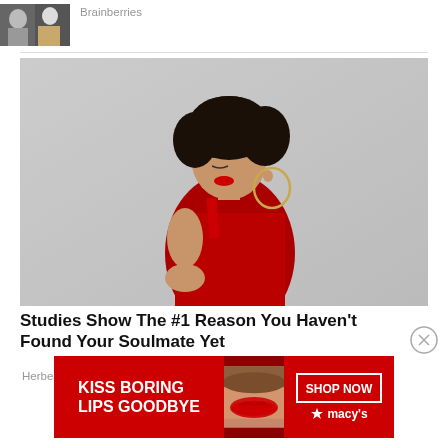[Figure (photo): Partial thumbnail of two people, top-left corner stub image]
Brainberries
[Figure (photo): Woman in red dress with curly dark hair and large hoop earrings, posed in profile against a light grey background]
Studies Show The #1 Reason You Haven't Found Your Soulmate Yet
Herbeauty
[Figure (infographic): Macy's advertisement banner: KISS BORING LIPS GOODBYE with SHOP NOW button and Macy's star logo, featuring close-up of red lips]